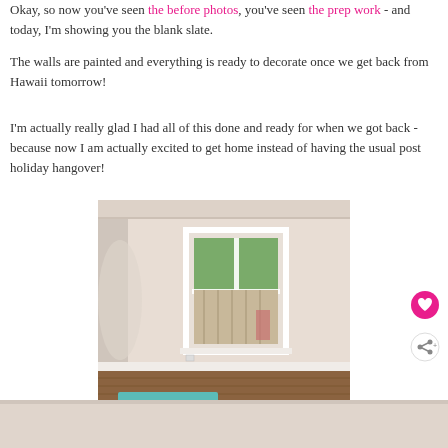Okay, so now you've seen the before photos, you've seen the prep work - and today, I'm showing you the blank slate.
The walls are painted and everything is ready to decorate once we get back from Hawaii tomorrow!
I'm actually really glad I had all of this done and ready for when we got back - because now I am actually excited to get home instead of having the usual post holiday hangover!
[Figure (photo): Empty room with freshly painted light beige/cream walls, a white-framed window with a view of greenery outside, hardwood floors, and a teal rug visible at the bottom. Room has white baseboards and cornice.]
[Figure (photo): Partial view of bottom portion of next photo below the main one.]